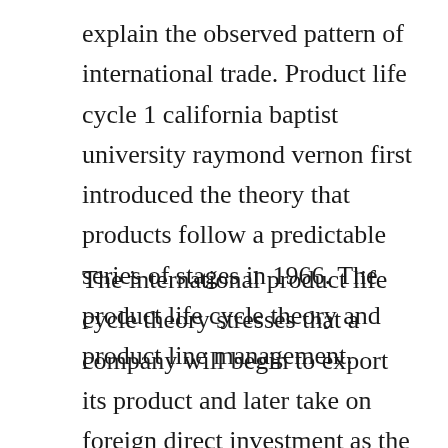explain the observed pattern of international trade. Product life cycle 1 california baptist university raymond vernon first introduced the theory that products follow a predictable series of stages in 1966. The product life cycle theory and product line management.
The international product life cycle theory stresses that a company will begin to export its product and later take on foreign direct investment as the product moves through its life cycle. The main author of this theory is an economist raymond vernon 191999 who